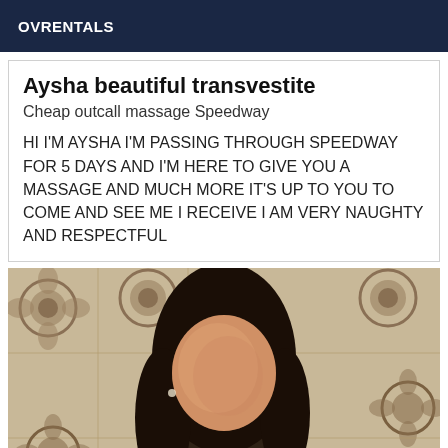OVRENTALS
Aysha beautiful transvestite
Cheap outcall massage Speedway
HI I'M AYSHA I'M PASSING THROUGH SPEEDWAY FOR 5 DAYS AND I'M HERE TO GIVE YOU A MASSAGE AND MUCH MORE IT'S UP TO YOU TO COME AND SEE ME I RECEIVE I AM VERY NAUGHTY AND RESPECTFUL
[Figure (photo): A person with long dark hair, face blurred/obscured, against a decorative floral wallpaper background in tan and brown tones.]